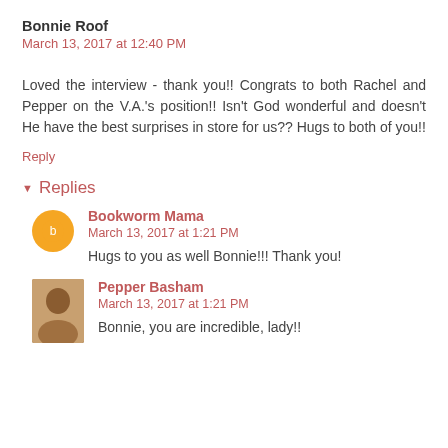Bonnie Roof
March 13, 2017 at 12:40 PM
Loved the interview - thank you!! Congrats to both Rachel and Pepper on the V.A.'s position!! Isn't God wonderful and doesn't He have the best surprises in store for us?? Hugs to both of you!!
Reply
Replies
Bookworm Mama
March 13, 2017 at 1:21 PM
Hugs to you as well Bonnie!!! Thank you!
Pepper Basham
March 13, 2017 at 1:21 PM
Bonnie, you are incredible, lady!!